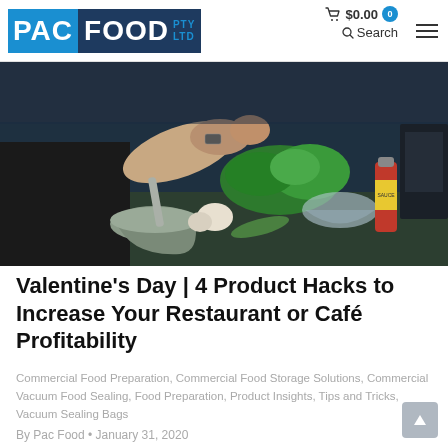PAC FOOD PTY LTD — $0.00 0 Search
[Figure (photo): Person preparing food at a kitchen counter with a mortar and pestle, fresh herbs, garlic, cucumbers, a glass bowl, and a bottle of sauce]
Valentine's Day | 4 Product Hacks to Increase Your Restaurant or Café Profitability
Commercial Food Preparation, Commercial Food Storage Solutions, Commercial Vacuum Food Sealing, Food Preparation, Product Insights, Tips and Tricks, Vacuum Sealing Bags
By Pac Food • January 31, 2020